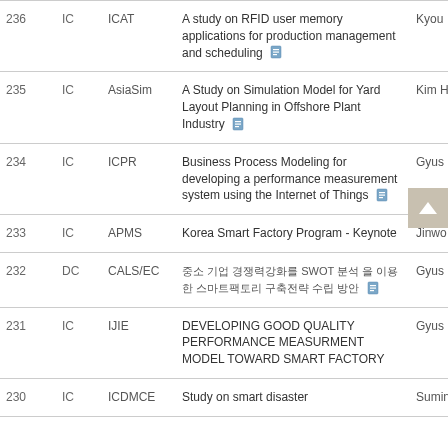| # | Type | Conference | Title | Author |
| --- | --- | --- | --- | --- |
| 236 | IC | ICAT | A study on RFID user memory applications for production management and scheduling | Kyou... |
| 235 | IC | AsiaSim | A Study on Simulation Model for Yard Layout Planning in Offshore Plant Industry | Kim H... |
| 234 | IC | ICPR | Business Process Modeling for developing a performance measurement system using the Internet of Things | Gyus... |
| 233 | IC | APMS | Korea Smart Factory Program - Keynote | Jinwo... |
| 232 | DC | CALS/EC | [Korean text] SWOT [Korean text] | Gyus... |
| 231 | IC | IJIE | DEVELOPING GOOD QUALITY PERFORMANCE MEASURMENT MODEL TOWARD SMART FACTORY | Gyus... |
| 230 | IC | ICDMCE | Study on smart disaster... | Sumin... |